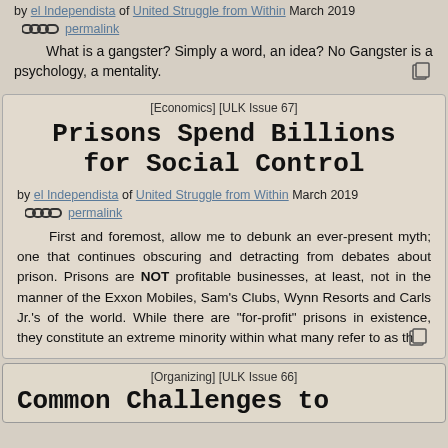by el Independista of United Struggle from Within March 2019
permalink
What is a gangster? Simply a word, an idea? No Gangster is a psychology, a mentality.
[Economics] [ULK Issue 67]
Prisons Spend Billions for Social Control
by el Independista of United Struggle from Within March 2019
permalink
First and foremost, allow me to debunk an ever-present myth; one that continues obscuring and detracting from debates about prison. Prisons are NOT profitable businesses, at least, not in the manner of the Exxon Mobiles, Sam's Clubs, Wynn Resorts and Carls Jr.'s of the world. While there are "for-profit" prisons in existence, they constitute an extreme minority within what many refer to as the
[Organizing] [ULK Issue 66]
Common Challenges to